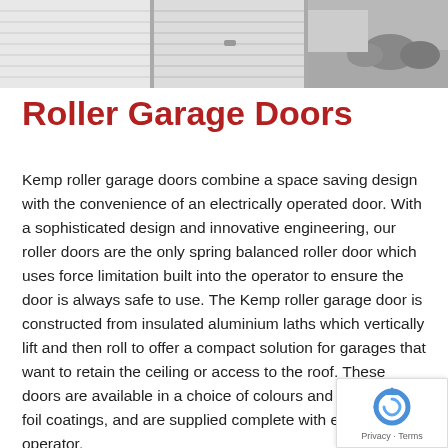[Figure (photo): Black and white photograph showing three roller garage doors on a house exterior, with driveway and shrubs visible on the right side.]
Roller Garage Doors
Kemp roller garage doors combine a space saving design with the convenience of an electrically operated door. With a sophisticated design and innovative engineering, our roller doors are the only spring balanced roller door which uses force limitation built into the operator to ensure the door is always safe to use. The Kemp roller garage door is constructed from insulated aluminium laths which vertically lift and then roll to offer a compact solution for garages that want to retain the ceiling or access to the roof. These doors are available in a choice of colours and timber effect foil coatings, and are supplied complete with electric operator.
[Figure (logo): reCAPTCHA badge with Privacy and Terms links]